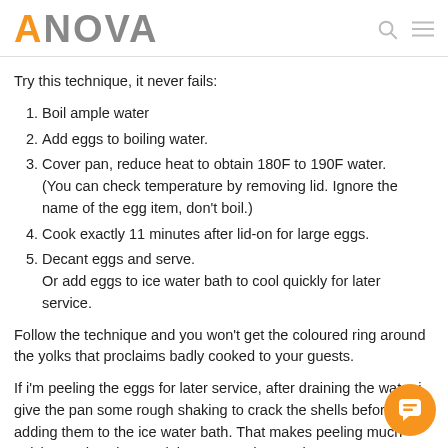ANOVA
Try this technique, it never fails:
Boil ample water
Add eggs to boiling water.
Cover pan, reduce heat to obtain 180F to 190F water. (You can check temperature by removing lid. Ignore the name of the egg item, don't boil.)
Cook exactly 11 minutes after lid-on for large eggs.
Decant eggs and serve. Or add eggs to ice water bath to cool quickly for later service.
Follow the technique and you won't get the coloured ring around the yolks that proclaims badly cooked to your guests.
If i'm peeling the eggs for later service, after draining the water i give the pan some rough shaking to crack the shells before adding them to the ice water bath. That makes peeling much quicker and easier. Peel the eggs under running water. It